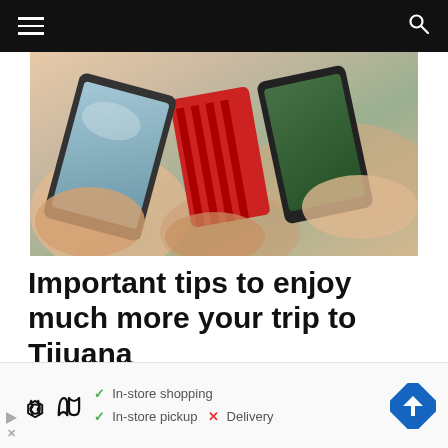Navigation bar with menu and search icons
[Figure (photo): Multiple hands holding smartphones, one with a red striped case and one with a green screen, gathered together]
Important tips to enjoy much more your trip to Tijuana
Now that we have given you all the tips about tips to
[Figure (infographic): Advertisement banner showing Under Armour logo with store info: In-store shopping (check), In-store pickup (check), Delivery (X), and a blue navigation arrow icon]